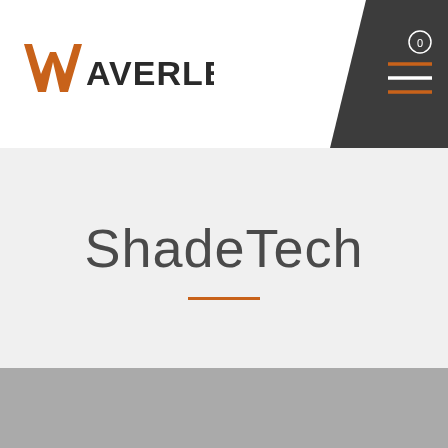[Figure (logo): Waverley logo with orange W and dark text, navigation bar with hamburger menu icon on dark background]
ShadeTech
[Figure (other): Gray placeholder image area below the ShadeTech title section]